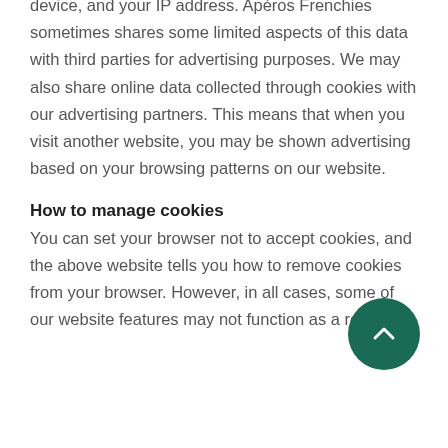device, and your IP address. Apéros Frenchies sometimes shares some limited aspects of this data with third parties for advertising purposes. We may also share online data collected through cookies with our advertising partners. This means that when you visit another website, you may be shown advertising based on your browsing patterns on our website.
How to manage cookies
You can set your browser not to accept cookies, and the above website tells you how to remove cookies from your browser. However, in all cases, some of our website features may not function as a result.